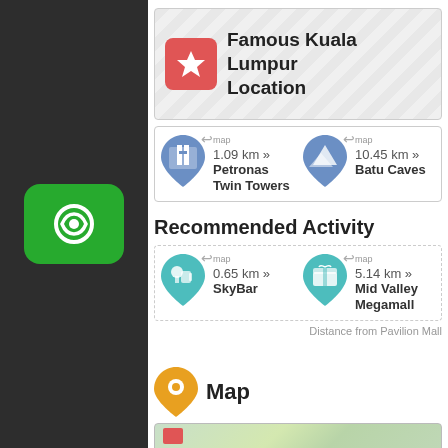Famous Kuala Lumpur Location
1.09 km » Petronas Twin Towers
10.45 km » Batu Caves
Recommended Activity
0.65 km » SkyBar
5.14 km » Mid Valley Megamall
Distance from Pavilion Mall
Map
[Figure (map): Street map preview near Pavilion Mall, Kuala Lumpur]